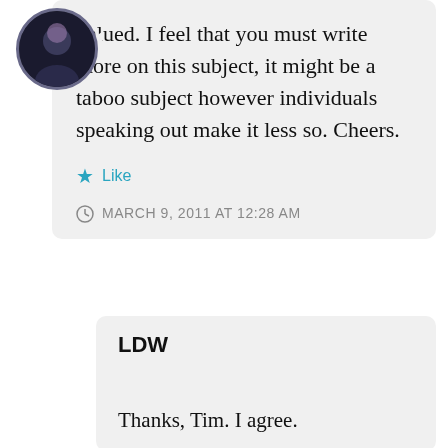valued. I feel that you must write more on this subject, it might be a taboo subject however individuals speaking out make it less so. Cheers.
Like
MARCH 9, 2011 AT 12:28 AM
LDW
Thanks, Tim. I agree.